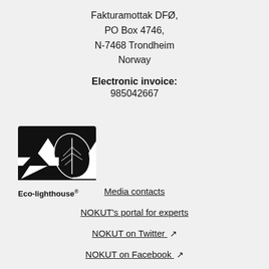Fakturamottak DFØ,
PO Box 4746,
N-7468 Trondheim
Norway
Electronic invoice:
985042667
[Figure (logo): Eco-lighthouse logo: black and white graphic with mountain/leaf imagery and text 'Eco-lighthouse']
Media contacts
NOKUT's portal for experts
NOKUT on Twitter
NOKUT on Facebook